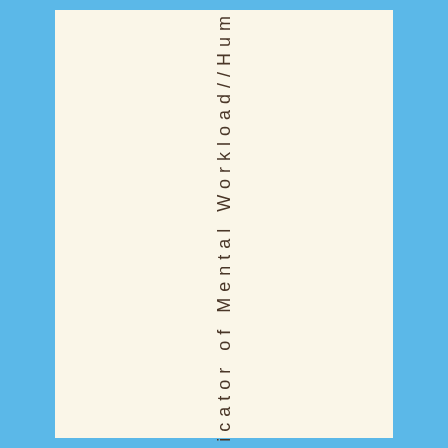dicator of Mental Workload//Hum